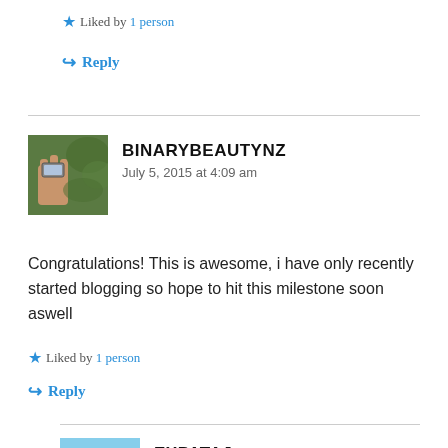★ Liked by 1 person
↪ Reply
[Figure (photo): Avatar photo of binarybeautynz — hand holding a small object against greenery background]
BINARYBEAUTYNZ
July 5, 2015 at 4:09 am
Congratulations! This is awesome, i have only recently started blogging so hope to hit this milestone soon aswell
★ Liked by 1 person
↪ Reply
[Figure (photo): Avatar photo of expataj — traditional Asian building/temple rooftop]
EXPATAJ
July 5, 2015 at 6:52 am